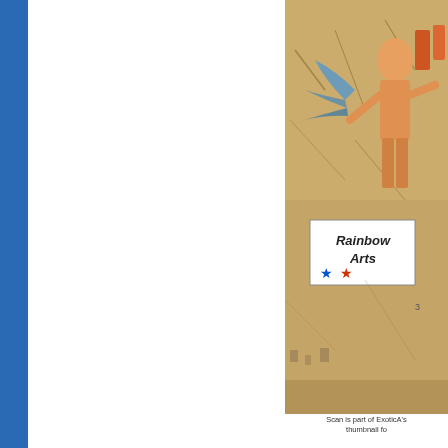[Figure (photo): Cover art scan showing an Egyptian-themed game with a figure and Rainbow Arts logo]
Scan is part of ExoticA's thumbnail fo...
| Composer(s) | Team(s) | Publisher(s) | Music Format(s) | Year published |
| --- | --- | --- | --- | --- |
| Filename | File Size | Composer | Game | Y |
| --- | --- | --- | --- | --- |
| Curse_of_Ra |  |  |  |  |
| ├ mdat.Curse_of_Ra | 8576 | Rudolf Stember | The Curse of Ra | 1 |